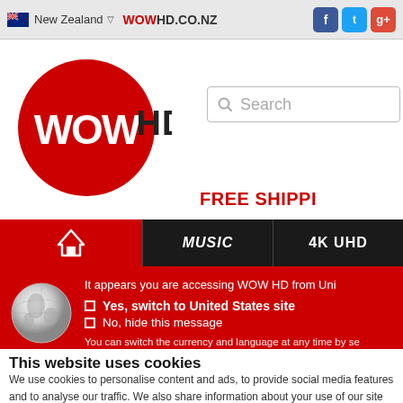New Zealand | WOWHD.CO.NZ | Facebook | Twitter | Google+
[Figure (logo): WOW HD logo: red circle with white WOW text, HD in black next to it]
[Figure (screenshot): Search bar with search icon and placeholder text 'Search']
FREE SHIPPI
[Figure (screenshot): Navigation bar with home icon (red), MUSIC (black), 4K UHD (black)]
[Figure (screenshot): Geo-IP banner: globe icon, message about accessing WOW HD from United States, options to switch or hide]
| Music Genre | Rock | Media Format | CD |
| --- | --- | --- | --- |
This website uses cookies
We use cookies to personalise content and ads, to provide social media features and to analyse our traffic. We also share information about your use of our site with our social media, advertising and analytics partners who...